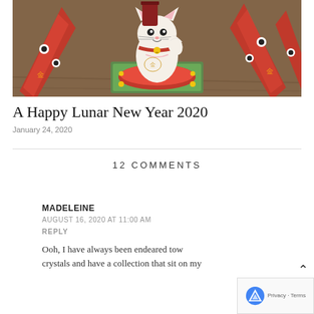[Figure (photo): A lucky cat (Maneki-neko) white ceramic figurine with red collar and bell, sitting on a red cushion with gold corners, surrounded by red folded decorations on a wooden surface.]
A Happy Lunar New Year 2020
January 24, 2020
12 COMMENTS
MADELEINE
AUGUST 16, 2020 AT 11:00 AM
REPLY
Ooh, I have always been endeared tow crystals and have a collection that sit on my